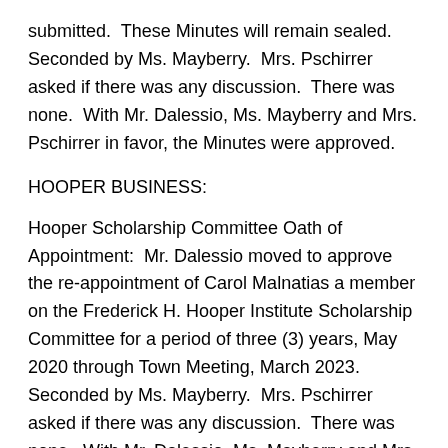submitted.  These Minutes will remain sealed.  Seconded by Ms. Mayberry.  Mrs. Pschirrer asked if there was any discussion.  There was none.  With Mr. Dalessio, Ms. Mayberry and Mrs. Pschirrer in favor, the Minutes were approved.
HOOPER BUSINESS:
Hooper Scholarship Committee Oath of Appointment:  Mr. Dalessio moved to approve the re-appointment of Carol Malnatias a member on the Frederick H. Hooper Institute Scholarship Committee for a period of three (3) years, May 2020 through Town Meeting, March 2023.  Seconded by Ms. Mayberry.  Mrs. Pschirrer asked if there was any discussion.  There was none.  With Mr. Dalessio, Ms. Mayberry and Mrs. Pschirrer in favor, the motion was approved.